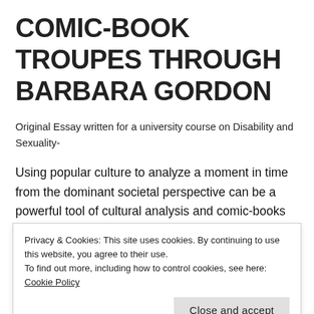COMIC-BOOK TROUPES THROUGH BARBARA GORDON
Original Essay written for a university course on Disability and Sexuality-
Using popular culture to analyze a moment in time from the dominant societal perspective can be a powerful tool of cultural analysis and comic-books are arguably one of the most lush bodies of this kind of evidence. Comic-books have
Privacy & Cookies: This site uses cookies. By continuing to use this website, you agree to their use.
To find out more, including how to control cookies, see here: Cookie Policy
Close and accept